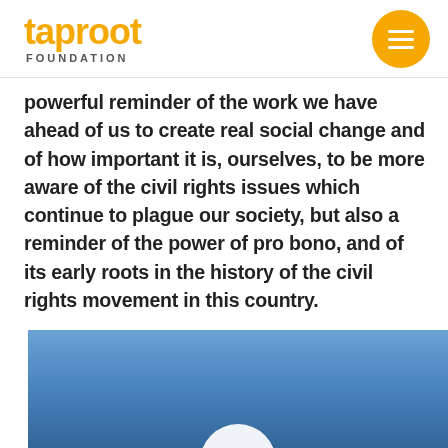taproot FOUNDATION
powerful reminder of the work we have ahead of us to create real social change and of how important it is, ourselves, to be more aware of the civil rights issues which continue to plague our society, but also a reminder of the power of pro bono, and of its early roots in the history of the civil rights movement in this country.
[Figure (photo): A photograph with a blue sky background, partially visible white circular/rounded element at the bottom of the image area.]